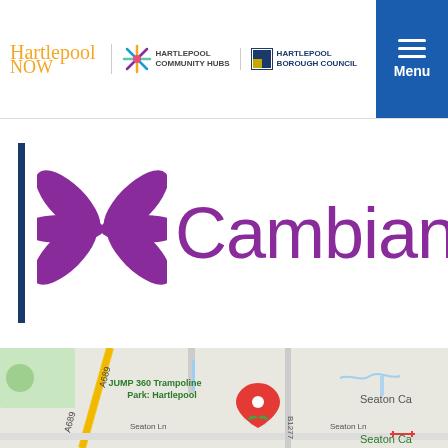Hartlepool Now | Hartlepool Community Hubs | Hartlepool Borough Council | Menu
[Figure (logo): Cambian logo with purple flower/star graphic and the word 'Cambian' in purple]
[Figure (map): Google Maps screenshot showing JUMP 360 Trampoline Park: Hartlepool, with a red map pin, roads A689, B1277, Seaton Lane, and Seaton Carew area visible]